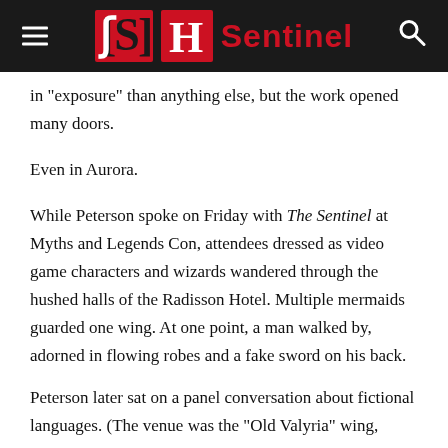Sentinel
in “exposure” than anything else, but the work opened many doors.
Even in Aurora.
While Peterson spoke on Friday with The Sentinel at Myths and Legends Con, attendees dressed as video game characters and wizards wandered through the hushed halls of the Radisson Hotel. Multiple mermaids guarded one wing. At one point, a man walked by, adorned in flowing robes and a fake sword on his back.
Peterson later sat on a panel conversation about fictional languages. (The venue was the “Old Valyria” wing, referencing a region in Game of Thrones. He’d created its language.)
Other panelists at the convention included an author of a novel